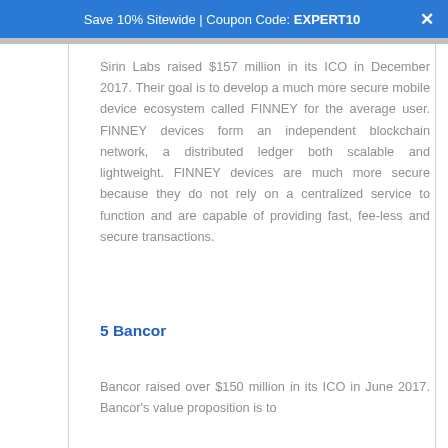Save 10% Sitewide | Coupon Code: EXPERT10
Sirin Labs raised $157 million in its ICO in December 2017. Their goal is to develop a much more secure mobile device ecosystem called FINNEY for the average user. FINNEY devices form an independent blockchain network, a distributed ledger both scalable and lightweight. FINNEY devices are much more secure because they do not rely on a centralized service to function and are capable of providing fast, fee-less and secure transactions.
5 Bancor
Bancor raised over $150 million in its ICO in June 2017. Bancor's value proposition is to